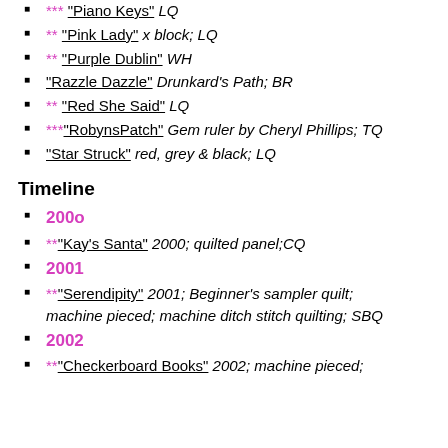*** "Piano Keys" LQ
** "Pink Lady" x block; LQ
** "Purple Dublin" WH
"Razzle Dazzle" Drunkard's Path; BR
** "Red She Said" LQ
***"RobynsPatch" Gem ruler by Cheryl Phillips; TQ
"Star Struck" red, grey & black; LQ
Timeline
200o
**"Kay's Santa" 2000; quilted panel;CQ
2001
**"Serendipity" 2001; Beginner's sampler quilt; machine pieced; machine ditch stitch quilting; SBQ
2002
**"Checkerboard Books" 2002; machine pieced;